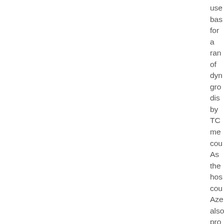used based for a range of dynamic growth discussed by TC member countries. As the host country Azerbaijan also provided detailed information on